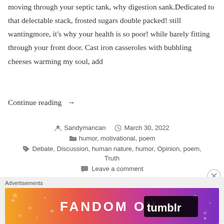moving through your septic tank, why digestion sank.Dedicated to that delectable stack, frosted sugars double packed! still wantingmore, it's why your health is so poor! while barely fitting through your front door. Cast iron casseroles with bubbling cheeses warming my soul, add
Continue reading →
Sandymancan  March 30, 2022
humor, motivational, poem
Debate, Discussion, human nature, humor, Opinion, poem, Truth
Leave a comment
Advertisements
[Figure (infographic): FANDOM ON tumblr advertisement banner with colorful gradient background from orange to purple]